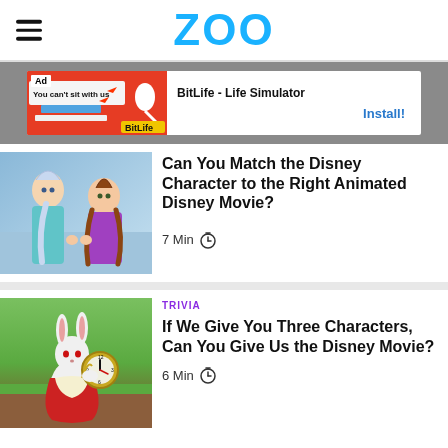ZOO
[Figure (other): BitLife Life Simulator advertisement banner]
[Figure (photo): Disney Frozen characters Elsa and Anna]
Can You Match the Disney Character to the Right Animated Disney Movie?
7 Min
TRIVIA
[Figure (illustration): Animated white rabbit character holding a clock from a Disney film]
If We Give You Three Characters, Can You Give Us the Disney Movie?
6 Min